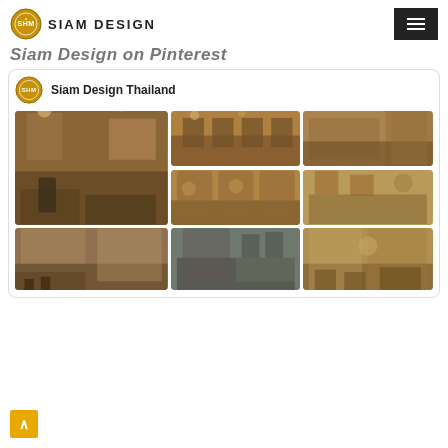SIAM DESIGN
Siam Design on Pinterest
[Figure (screenshot): Pinterest board screenshot showing Siam Design Thailand profile with a grid of interior design photos of Thai restaurants/cafes with wooden decor]
Siam Design Thailand